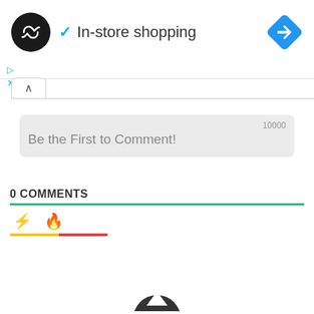[Figure (logo): Black circular logo with double arrow/infinity symbol inside, next to cyan checkmark and 'In-store shopping' text, and a blue diamond navigation icon on the right]
In-store shopping
10000
Be the First to Comment!
0 COMMENTS
[Figure (screenshot): Tab icons: yellow lightning bolt and orange/red flame emoji, with a gradient underline bar in yellow-red]